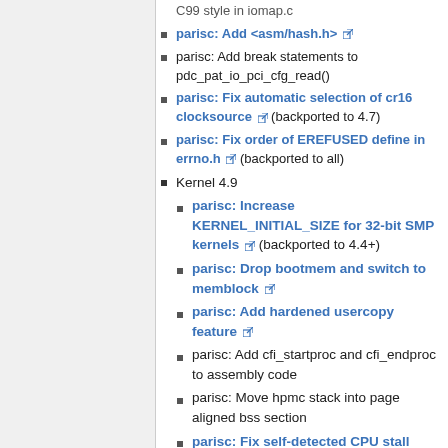parisc: Add <asm/hash.h> [link]
parisc: Add break statements to pdc_pat_io_pci_cfg_read()
parisc: Fix automatic selection of cr16 clocksource [link] (backported to 4.7)
parisc: Fix order of EREFUSED define in errno.h [link] (backported to all)
Kernel 4.9
parisc: Increase KERNEL_INITIAL_SIZE for 32-bit SMP kernels [link] (backported to 4.4+)
parisc: Drop bootmem and switch to memblock [link]
parisc: Add hardened usercopy feature [link]
parisc: Add cfi_startproc and cfi_endproc to assembly code
parisc: Move hpmc stack into page aligned bss section
parisc: Fix self-detected CPU stall warnings on Mako machines [link]